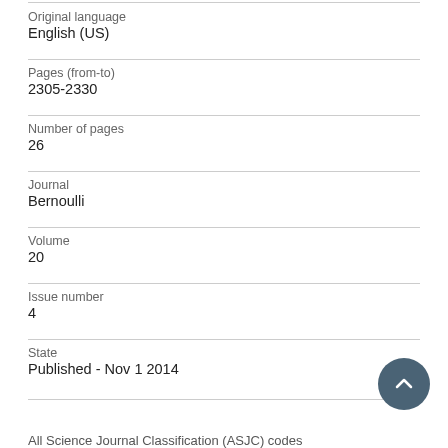Original language
English (US)
Pages (from-to)
2305-2330
Number of pages
26
Journal
Bernoulli
Volume
20
Issue number
4
State
Published - Nov 1 2014
All Science Journal Classification (ASJC) codes